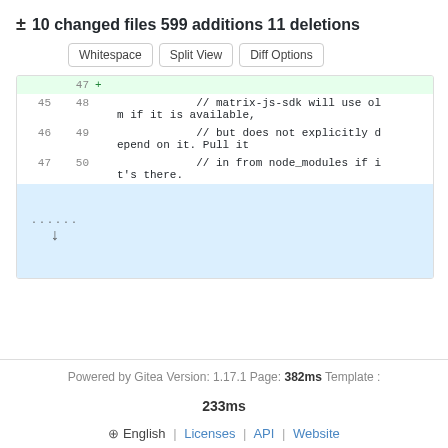± 10 changed files 599 additions 11 deletions
[Figure (screenshot): Three buttons: Whitespace, Split View, Diff Options]
| old | new | marker | code |
| --- | --- | --- | --- |
|  | 47 | + |  |
| 45 | 48 |  | // matrix-js-sdk will use olm if it is available, |
| 46 | 49 |  | // but does not explicitly depend on it. Pull it |
| 47 | 50 |  | // in from node_modules if it's there. |
| expand |  |  |  |
Powered by Gitea Version: 1.17.1 Page: 382ms Template : 233ms
⊕ English | Licenses | API | Website